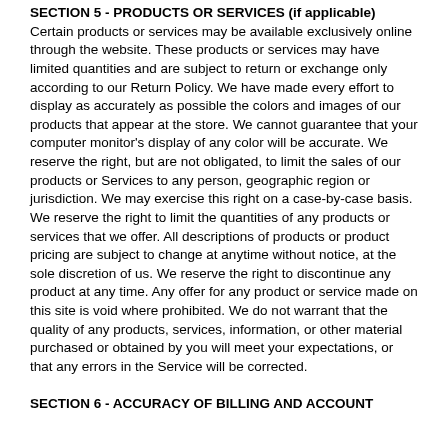SECTION 5 - PRODUCTS OR SERVICES (if applicable)
Certain products or services may be available exclusively online through the website. These products or services may have limited quantities and are subject to return or exchange only according to our Return Policy. We have made every effort to display as accurately as possible the colors and images of our products that appear at the store. We cannot guarantee that your computer monitor's display of any color will be accurate. We reserve the right, but are not obligated, to limit the sales of our products or Services to any person, geographic region or jurisdiction. We may exercise this right on a case-by-case basis. We reserve the right to limit the quantities of any products or services that we offer. All descriptions of products or product pricing are subject to change at anytime without notice, at the sole discretion of us. We reserve the right to discontinue any product at any time. Any offer for any product or service made on this site is void where prohibited. We do not warrant that the quality of any products, services, information, or other material purchased or obtained by you will meet your expectations, or that any errors in the Service will be corrected.
SECTION 6 - ACCURACY OF BILLING AND ACCOUNT